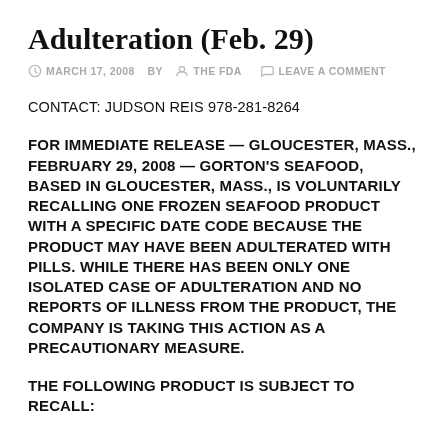Adulteration (Feb. 29)
MARCH 17, 2008  BY  THE FDA  LEAVE A COMMENT
CONTACT: JUDSON REIS 978-281-8264
FOR IMMEDIATE RELEASE — GLOUCESTER, MASS., FEBRUARY 29, 2008 — GORTON'S SEAFOOD, BASED IN GLOUCESTER, MASS., IS VOLUNTARILY RECALLING ONE FROZEN SEAFOOD PRODUCT WITH A SPECIFIC DATE CODE BECAUSE THE PRODUCT MAY HAVE BEEN ADULTERATED WITH PILLS. WHILE THERE HAS BEEN ONLY ONE ISOLATED CASE OF ADULTERATION AND NO REPORTS OF ILLNESS FROM THE PRODUCT, THE COMPANY IS TAKING THIS ACTION AS A PRECAUTIONARY MEASURE.
THE FOLLOWING PRODUCT IS SUBJECT TO RECALL: